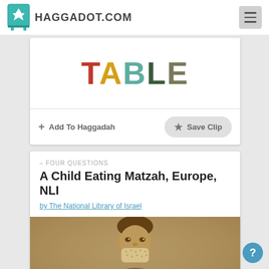HAGGADOT.COM
[Figure (logo): Haggadot.com logo with teal book icon and bold text HAGGADOT.COM]
[Figure (illustration): Colorful word TABLE with each letter in a different color: T in red, A in yellow/gold, B in teal, L in dark green, E in olive/dark]
Add To Haggadah
Save Clip
– FOUR QUESTIONS
A Child Eating Matzah, Europe, NLI
by The National Library of Israel
[Figure (photo): Vintage sepia photograph of a young boy eating matzah, historical European image from the National Library of Israel]